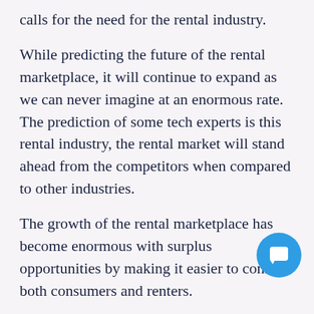calls for the need for the rental industry.
While predicting the future of the rental marketplace, it will continue to expand as we can never imagine at an enormous rate. The prediction of some tech experts is this rental industry, the rental market will stand ahead from the competitors when compared to other industries.
The growth of the rental marketplace has become enormous with surplus opportunities by making it easier to connect both consumers and renters.
When compared with past, the rental indus gonna be the future and provides loads of opportunities that inspire many digital startups